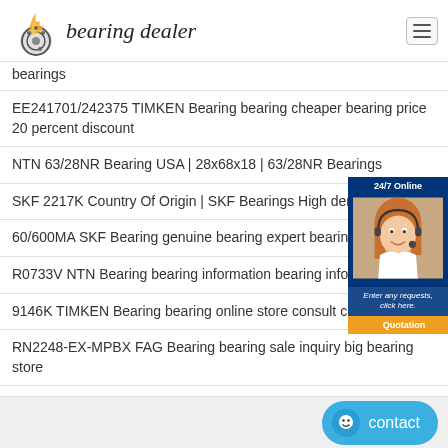bearing dealer
bearings
EE241701/242375 TIMKEN Bearing bearing cheaper bearing price 20 percent discount
NTN 63/28NR Bearing USA | 28x68x18 | 63/28NR Bearings
SKF 2217K Country Of Origin | SKF Bearings High demand
60/600MA SKF Bearing genuine bearing expert bearing price size
R0733V NTN Bearing bearing information bearing information
9146K TIMKEN Bearing bearing online store consult cheap bearing
RN2248-EX-MPBX FAG Bearing bearing sale inquiry big bearing store
[Figure (photo): Customer service chat widget with 24/7 Online label, photo of a smiling woman with headset, caption 'Enter any requests, click here.' and a Quotation button]
[Figure (infographic): Blue rounded contact button at bottom right]